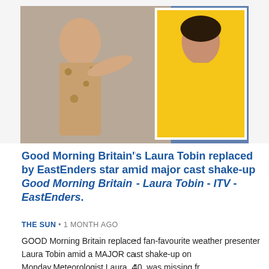[Figure (photo): Two women in a composite photo — one in a leopard print outfit on the left, one in a yellow sleeveless dress on the right]
Good Morning Britain's Laura Tobin replaced by EastEnders star amid major cast shake-up Good Morning Britain - Laura Tobin - ITV - EastEnders.
THE SUN • 1 MONTH AGO
GOOD Morning Britain replaced fan-favourite weather presenter Laura Tobin amid a MAJOR cast shake-up on Monday.Meteorologist Laura, 40, was missing fr.
Read more at The Sun
[Figure (photo): Older man with grey hair photographed outdoors, partial view at bottom of page]